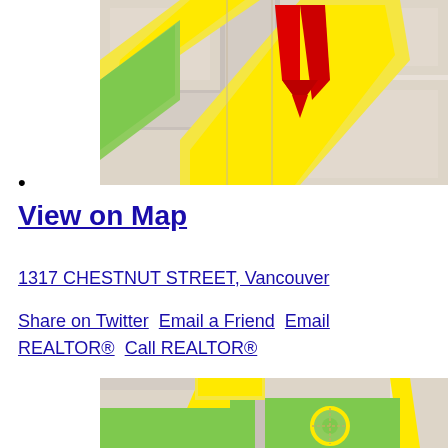[Figure (map): Google Maps style street map showing intersection with yellow roads, green park area, beige city blocks, and a red location pin marker pointing downward]
•
View on Map
1317 CHESTNUT STREET, Vancouver
Share on Twitter  Email a Friend  Email REALTOR®  Call REALTOR®
[Figure (map): Google Maps style street map showing a roundabout/traffic circle intersection with yellow roads and green park areas]